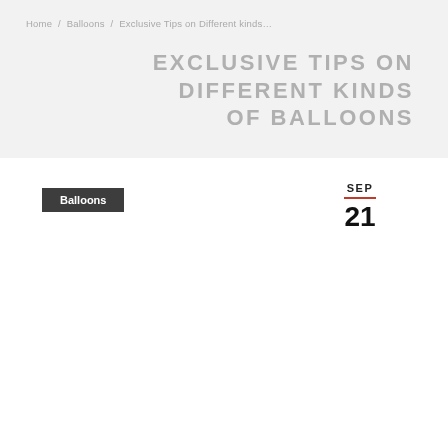Home / Balloons / Exclusive Tips on Different kinds...
EXCLUSIVE TIPS ON DIFFERENT KINDS OF BALLOONS
Balloons
SEP 21